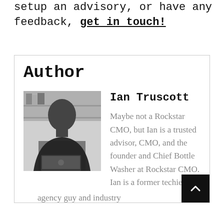setup an advisory, or have any feedback, get in touch!
Author
[Figure (photo): Black and white photo of Ian Truscott, a bald man sitting with a laptop]
Ian Truscott
Maybe not a Rockstar CMO, but Ian is a trusted advisor, CMO, and the founder and Chief Bottle Washer at Rockstar CMO. Ian is a former techie, product marketer, CTO, agency guy and industry...